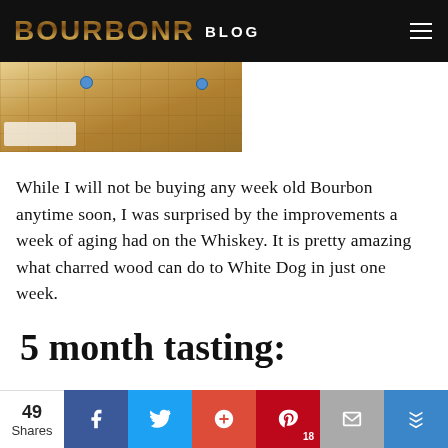BOURBONR BLOG
[Figure (photo): Partial view of wooden barrel staves with blue seal dots visible]
While I will not be buying any week old Bourbon anytime soon, I was surprised by the improvements a week of aging had on the Whiskey. It is pretty amazing what charred wood can do to White Dog in just one week.
5 month tasting: